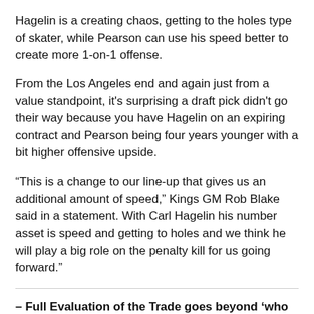Hagelin is a creating chaos, getting to the holes type of skater, while Pearson can use his speed better to create more 1-on-1 offense.
From the Los Angeles end and again just from a value standpoint, it's surprising a draft pick didn't go their way because you have Hagelin on an expiring contract and Pearson being four years younger with a bit higher offensive upside.
“This is a change to our line-up that gives us an additional amount of speed,” Kings GM Rob Blake said in a statement. With Carl Hagelin his number asset is speed and getting to holes and we think he will play a big role on the penalty kill for us going forward.”
– Full Evaluation of the Trade goes beyond ‘who got the best value” –
As mentioned above, from a value standpoint, this trade makes a lot of sense for Pittsburgh.